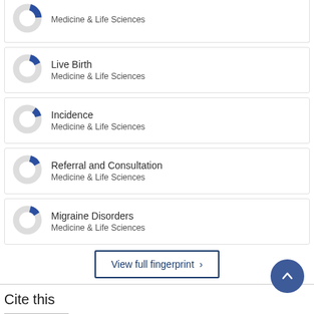[Figure (donut-chart): Partial donut chart for Medicine & Life Sciences topic (top, cropped)]
[Figure (donut-chart): Small donut chart showing Live Birth - Medicine & Life Sciences]
Live Birth
Medicine & Life Sciences
[Figure (donut-chart): Small donut chart showing Incidence - Medicine & Life Sciences]
Incidence
Medicine & Life Sciences
[Figure (donut-chart): Small donut chart showing Referral and Consultation - Medicine & Life Sciences]
Referral and Consultation
Medicine & Life Sciences
[Figure (donut-chart): Small donut chart showing Migraine Disorders - Medicine & Life Sciences]
Migraine Disorders
Medicine & Life Sciences
View full fingerprint ›
Cite this